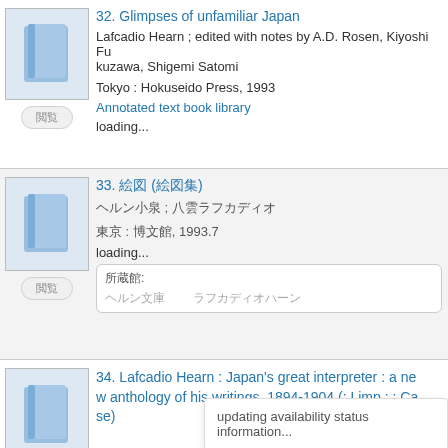32. Glimpses of unfamiliar Japan
Lafcadio Hearn ; edited with notes by A.D. Rosen, Kiyoshi Fukuzawa, Shigemi Satomi
Tokyo : Hokuseido Press, 1993
Annotated text book library
loading...
33. 絵図 (絵図集)
ヘルン小泉 ; 八雲ラフカディオ
東京 : 博文館, 1993.7
loading...
所蔵館:
34. Lafcadio Hearn : Japan's great interpreter : a new anthology of his writings, 1894-1904 (: Limp : : Case)
edited by Louis Allen and Joan Wilson
Folkestone, Kent : Japan...
loading...
updating availability status information...